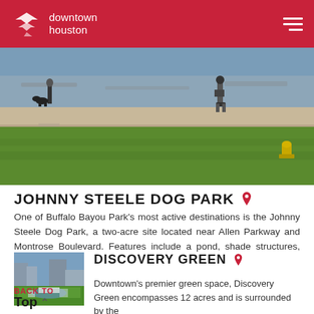downtown houston
[Figure (photo): Outdoor photo of a park area near a bayou/waterway. Green grass in foreground, a concrete walkway/seawall, a person walking a dog, another person on a skateboard, and a fire hydrant visible on the right.]
JOHNNY STEELE DOG PARK
One of Buffalo Bayou Park's most active destinations is the Johnny Steele Dog Park, a two-acre site located near Allen Parkway and Montrose Boulevard. Features include a pond, shade structures, dog ...
[Figure (photo): Aerial thumbnail photo of Discovery Green park in downtown Houston, showing the green space surrounded by buildings.]
DISCOVERY GREEN
Downtown's premier green space, Discovery Green encompasses 12 acres and is surrounded by the
BACK TO
Top